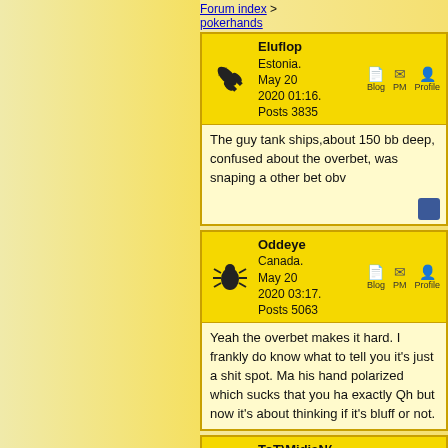Forum index > pokerhands
| Avatar | User Info | Actions |
| --- | --- | --- |
| [rocket icon] | Eluflop
Estonia.
May 20
2020 01:16.
Posts 3835 | Blog PM Profile |
The guy tank ships,about 150 bb deep, confused about the overbet, was snaping a other bet obv
| Avatar | User Info | Actions |
| --- | --- | --- |
| [bug icon] | Oddeye
Canada.
May 20
2020 03:17.
Posts 5063 | Blog PM Profile |
Yeah the overbet makes it hard. I frankly do know what to tell you it's just a shit spot. Ma his hand polarized which sucks that you ha exactly Qh but now it's about thinking if it's bluff or not.
| Avatar | User Info | Actions |
| --- | --- | --- |
| [bug icon] | ToT)MidiaN(
★ United Kingdom.
May 20
2020 13:52. | Blog PM Profile |